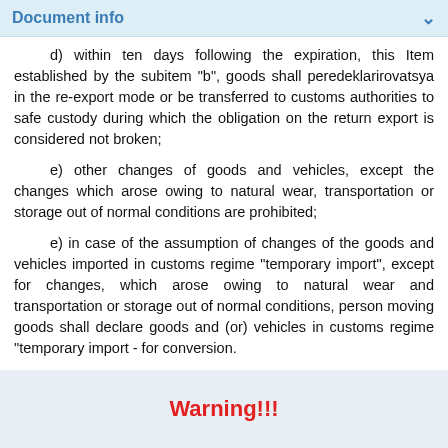Document info
d) within ten days following the expiration, this Item established by the subitem "b", goods shall peredeklarirovatsya in the re-export mode or be transferred to customs authorities to safe custody during which the obligation on the return export is considered not broken;
e) other changes of goods and vehicles, except the changes which arose owing to natural wear, transportation or storage out of normal conditions are prohibited;
e) in case of the assumption of changes of the goods and vehicles imported in customs regime "temporary import", except for changes, which arose owing to natural wear and transportation or storage out of normal conditions, person moving goods shall declare goods and (or) vehicles in customs regime "temporary import - for conversion.
Warning!!!